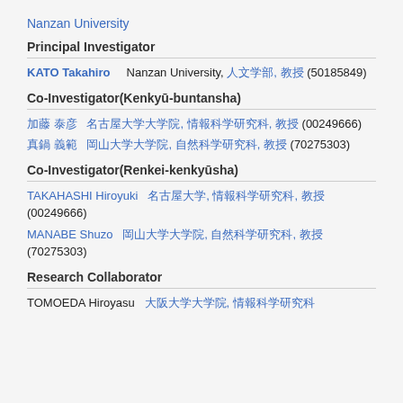Nanzan University
Principal Investigator
KATO Takahiro    Nanzan University, 人文学部, 教授 (50185849)
Co-Investigator(Kenkyū-buntansha)
加藤 泰彦  名古屋大学大学院, 情報科学研究科, 教授 (00249666)
真鍋 義範  岡山大学大学院, 自然科学研究科, 教授 (70275303)
Co-Investigator(Renkei-kenkyūsha)
TAKAHASHI Hiroyuki  名古屋大学, 情報科学研究科, 教授 (00249666)
MANABE Shuzo  岡山大学大学院, 自然科学研究科, 教授 (70275303)
Research Collaborator
TOMOEDA Hiroyasu  大阪大学大学院, 情報科学研究科